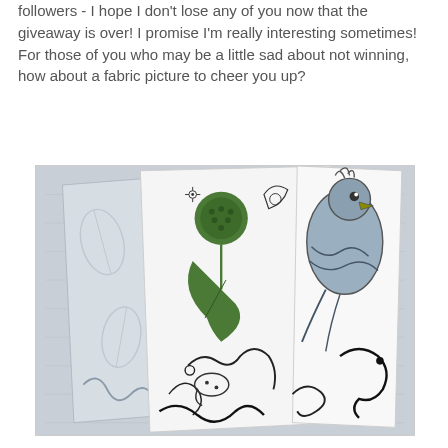followers - I hope I don't lose any of you now that the giveaway is over! I promise I'm really interesting sometimes! For those of you who may be a little sad about not winning, how about a fabric picture to cheer you up?
[Figure (photo): Photo of folded fabric pieces with botanical and bird prints — white fabric with black line-drawn birds, animals, and green botanical/floral patterns, stacked on a light grey surface]